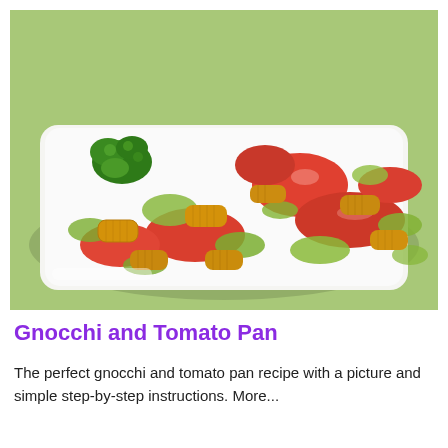[Figure (photo): A white rectangular plate on a green background, holding pan-fried gnocchi mixed with sliced tomatoes and wilted green lettuce, garnished with fresh parsley.]
Gnocchi and Tomato Pan
The perfect gnocchi and tomato pan recipe with a picture and simple step-by-step instructions. More...